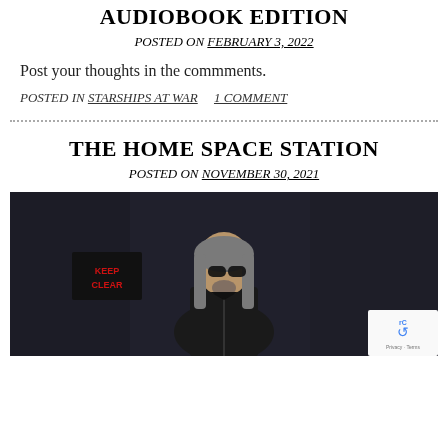AUDIOBOOK EDITION
POSTED ON FEBRUARY 3, 2022
Post your thoughts in the commments.
POSTED IN STARSHIPS AT WAR    1 COMMENT
THE HOME SPACE STATION
POSTED ON NOVEMBER 30, 2021
[Figure (photo): A 3D rendered character with long gray hair, sunglasses, and a dark jacket standing in a dark interior space. A sign reading 'KEEP CLEAR' in red on a dark background is visible on the left. A reCAPTCHA badge is overlaid in the bottom right corner.]